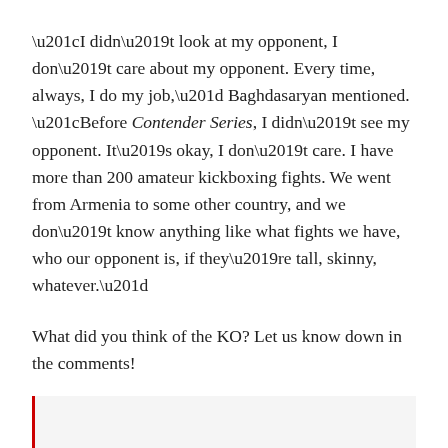“I didn’t look at my opponent, I don’t care about my opponent. Every time, always, I do my job,” Baghdasaryan mentioned. “Before Contender Series, I didn’t see my opponent. It’s okay, I don’t care. I have more than 200 amateur kickboxing fights. We went from Armenia to some other country, and we don’t know anything like what fights we have, who our opponent is, if they’re tall, skinny, whatever.”
What did you think of the KO? Let us know down in the comments!
Just business